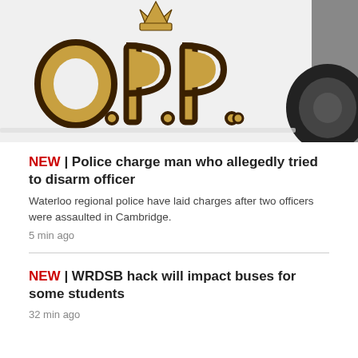[Figure (photo): Close-up photo of an OPP (Ontario Provincial Police) police car door showing the gold O.P.P. lettering with a crown emblem at the top, and a car tire visible on the right side.]
NEW | Police charge man who allegedly tried to disarm officer
Waterloo regional police have laid charges after two officers were assaulted in Cambridge.
5 min ago
NEW | WRDSB hack will impact buses for some students
32 min ago